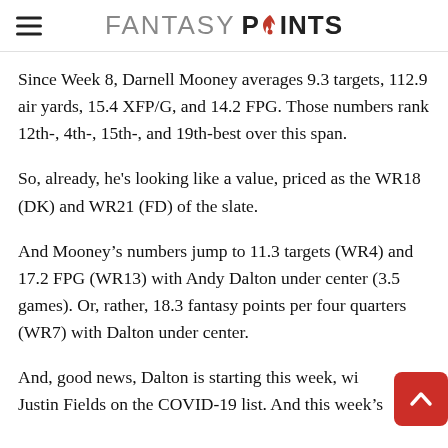FANTASY POINTS
Since Week 8, Darnell Mooney averages 9.3 targets, 112.9 air yards, 15.4 XFP/G, and 14.2 FPG. Those numbers rank 12th-, 4th-, 15th-, and 19th-best over this span.
So, already, he's looking like a value, priced as the WR18 (DK) and WR21 (FD) of the slate.
And Mooney’s numbers jump to 11.3 targets (WR4) and 17.2 FPG (WR13) with Andy Dalton under center (3.5 games). Or, rather, 18.3 fantasy points per four quarters (WR7) with Dalton under center.
And, good news, Dalton is starting this week, with Justin Fields on the COVID-19 list. And this week’s